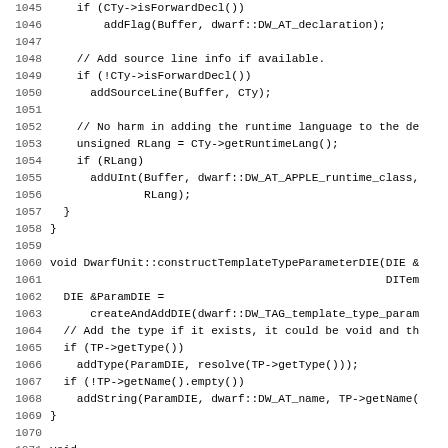[Figure (screenshot): Source code listing showing C++ code for DwarfUnit class methods, lines 1045-1077, with line numbers on the left and monospaced code on the right.]